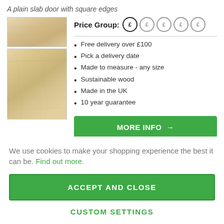A plain slab door with square edges
[Figure (photo): Two wood veneer swatches showing light natural wood grain texture: a smaller horizontal swatch on top and a larger vertical swatch below]
Price Group: £ £ £ £ £
Free delivery over £100
Pick a delivery date
Made to measure - any size
Sustainable wood
Made in the UK
10 year guarantee
MORE INFO →
We use cookies to make your shopping experience the best it can be. Find out more.
ACCEPT AND CLOSE
CUSTOM SETTINGS